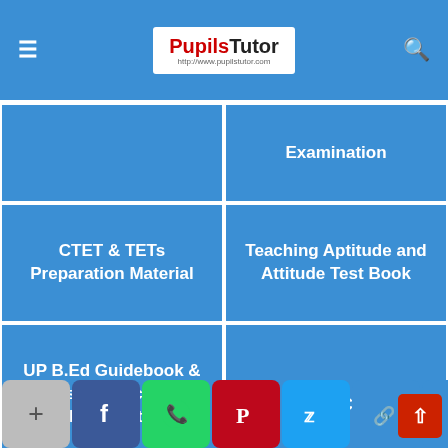PupilsTutor
| Book / Material | Examination |
| --- | --- |
| CTET & TETs Preparation Material | Teaching Aptitude and Attitude Test Book |
| UP B.Ed Guidebook & Latest Practice Sets Book For Entrance Exam | B.Ed CET |
| Delhi University B.Ed Entrance Test Latest | IGNOU B.Ed. Entrance Test: Previous Years Papers (Solved) |
[Figure (screenshot): Social media sharing bar at bottom with icons: plus, Facebook, WhatsApp, Pinterest, Twitter, Link, plus]